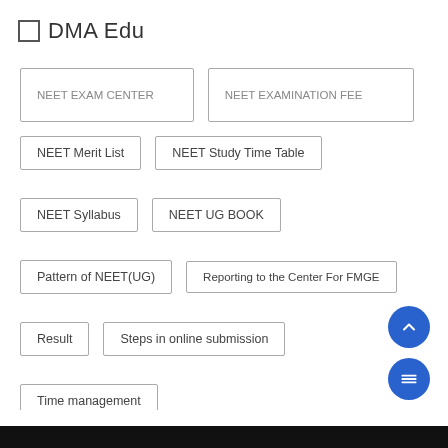DMA Edu
NEET Exam Center
NEET Examination Fee
NEET Merit List
NEET Study Time Table
NEET Syllabus
NEET UG BOOK
Pattern of NEET(UG)
Reporting to the Center For FMGE
Result
Steps in online submission
Time management
Unfair Means (UMC) & Consequences